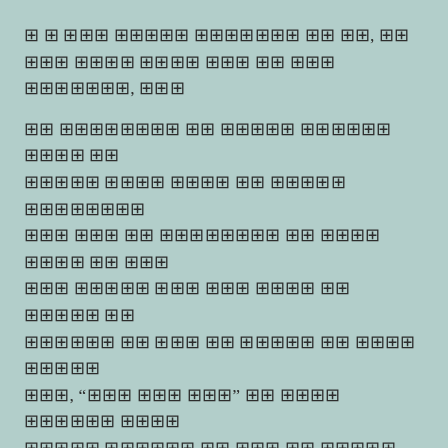[redacted text paragraph 1]
[redacted text paragraph 2 with quoted phrase]
[redacted text paragraph 3 ending with quoted word]